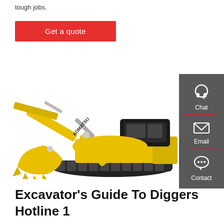tough jobs.
Get a quote
[Figure (photo): Large yellow Komatsu excavator/digger on white background, with extended boom arm and bucket]
[Figure (infographic): Dark grey sidebar with three contact options: Chat (headset icon), Email (envelope icon), Contact (speech bubble icon), separated by red dividers]
Excavator's Guide To Diggers Hotline 1